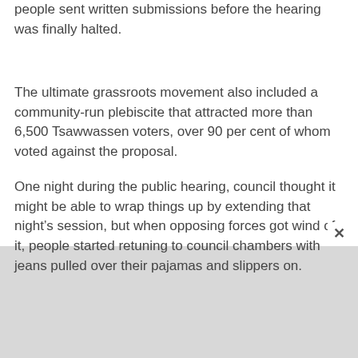people sent written submissions before the hearing was finally halted.
The ultimate grassroots movement also included a community-run plebiscite that attracted more than 6,500 Tsawwassen voters, over 90 per cent of whom voted against the proposal.
One night during the public hearing, council thought it might be able to wrap things up by extending that night’s session, but when opposing forces got wind of it, people started retuning to council chambers with jeans pulled over their pajamas and slippers on.